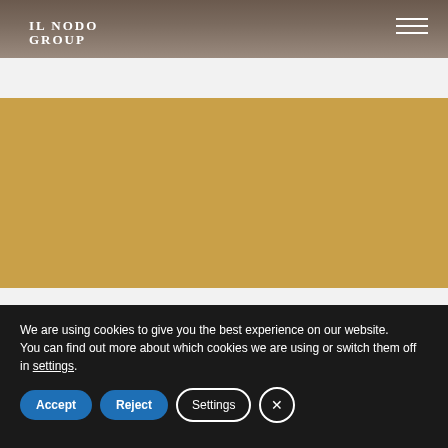[Figure (photo): Dark brownish-grey textured background header image with Il Nodo Group logo on left and hamburger menu on right]
We are using cookies to give you the best experience on our website.
You can find out more about which cookies we are using or switch them off in settings.
Accept
Reject
Settings